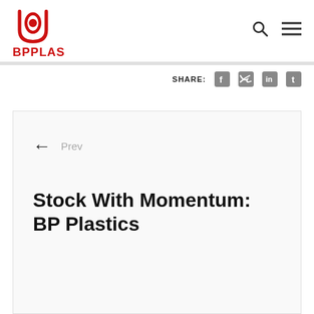[Figure (logo): BPPLAS company logo — red abstract B/P symbol above red bold text BPPLAS]
BPPLAS
SHARE:
← Prev
Stock With Momentum: BP Plastics